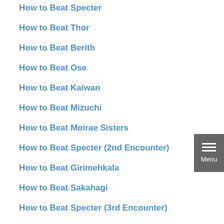How to Beat Specter
How to Beat Thor
How to Beat Berith
How to Beat Ose
How to Beat Kaiwan
How to Beat Mizuchi
How to Beat Moirae Sisters
How to Beat Specter (2nd Encounter)
How to Beat Girimehkala
How to Beat Sakahagi
How to Beat Specter (3rd Encounter)